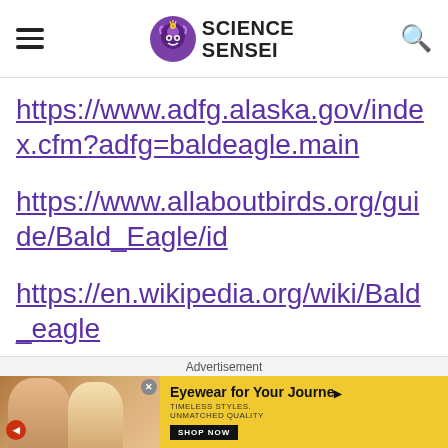Science Sensei
https://www.adfg.alaska.gov/index.cfm?adfg=baldeagle.main
https://www.allaboutbirds.org/guide/Bald_Eagle/id
https://en.wikipedia.org/wiki/Bald_eagle
https://en.wikipedia.org/wiki/Alaska_moose
Advertisement
[Figure (photo): Advertisement banner for eyewear showing two women wearing sunglasses with text 'Eyewear for Your Journey', 'TIMELESS STYLES. UNMATCHED QUALITY', and a 'SHOP NOW' button on yellow background]